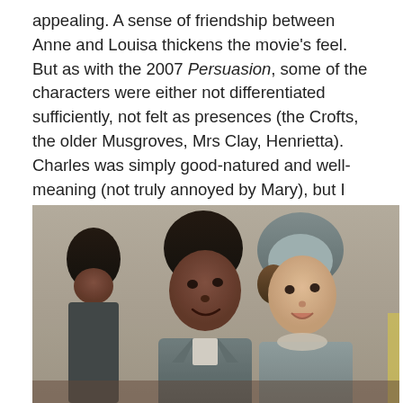appealing. A sense of friendship between Anne and Louisa thickens the movie's feel. But as with the 2007 Persuasion, some of the characters were either not differentiated sufficiently, not felt as presences (the Crofts, the older Musgroves, Mrs Clay, Henrietta). Charles was simply good-natured and well-meaning (not truly annoyed by Mary), but I admit I found Ben Bailey the handsomest or most physically appealing male in the cast.
[Figure (photo): A scene from what appears to be a period drama. A young Black man in period costume (grey jacket, cravat) sits next to a young white woman wearing a grey bonnet and period dress. Both are smiling or looking pleasant. Another person is partially visible behind them on the left. The setting appears to be indoors, possibly a church or hall.]